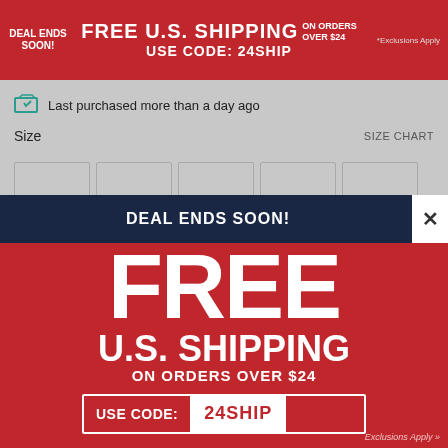DEAL ENDS SOON! FREE U.S. SHIPPING ON ORDERS OVER $24 USE CODE: 24SHIP *Exclusions Apply
Last purchased more than a day ago
Size   SIZE CHART
DEAL ENDS SOON!
FREE U.S. SHIPPING ON ORDERS OVER $24
USE CODE: 24SHIP
Exclusions Apply »